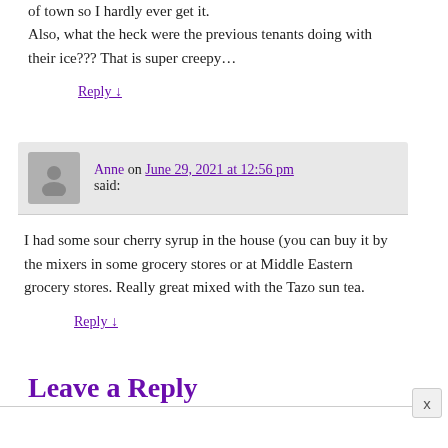of town so I hardly ever get it. Also, what the heck were the previous tenants doing with their ice??? That is super creepy…
Reply ↓
Anne on June 29, 2021 at 12:56 pm said:
I had some sour cherry syrup in the house (you can buy it by the mixers in some grocery stores or at Middle Eastern grocery stores. Really great mixed with the Tazo sun tea.
Reply ↓
Leave a Reply